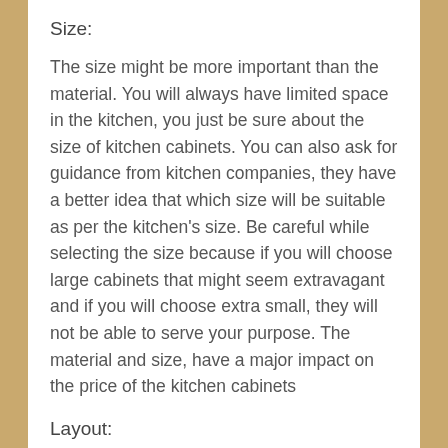Size:
The size might be more important than the material. You will always have limited space in the kitchen, you just be sure about the size of kitchen cabinets. You can also ask for guidance from kitchen companies, they have a better idea that which size will be suitable as per the kitchen's size. Be careful while selecting the size because if you will choose large cabinets that might seem extravagant and if you will choose extra small, they will not be able to serve your purpose. The material and size, have a major impact on the price of the kitchen cabinets
Layout:
The layout of kitchen cabinets is also important. The kitchen cabinet must be installed to facilitate...